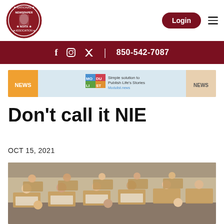[Figure (logo): National Newspaper Association circular logo with red border]
Login | 850-542-7087
[Figure (infographic): Modulist advertisement banner - Simple solution to Publish Life's Stories - Modulist.news]
Don't call it NIE
OCT 15, 2021
[Figure (photo): Children sitting at desks in a classroom reading newspapers]